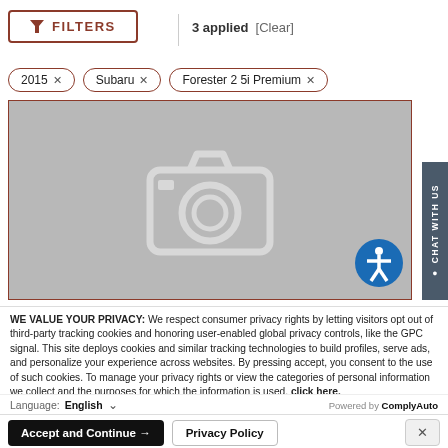[Figure (screenshot): Filter button with orange border showing FILTERS label and funnel icon, with '3 applied [Clear]' text and filter tags for 2015, Subaru, Forester 2 5i Premium]
[Figure (photo): Gray placeholder image area with a white camera icon in the center, and a blue accessibility icon in the bottom right corner]
WE VALUE YOUR PRIVACY: We respect consumer privacy rights by letting visitors opt out of third-party tracking cookies and honoring user-enabled global privacy controls, like the GPC signal. This site deploys cookies and similar tracking technologies to build profiles, serve ads, and personalize your experience across websites. By pressing accept, you consent to the use of such cookies. To manage your privacy rights or view the categories of personal information we collect and the purposes for which the information is used, click here.
Language: English  ∨   Powered by ComplyAuto
Accept and Continue →   Privacy Policy   ×